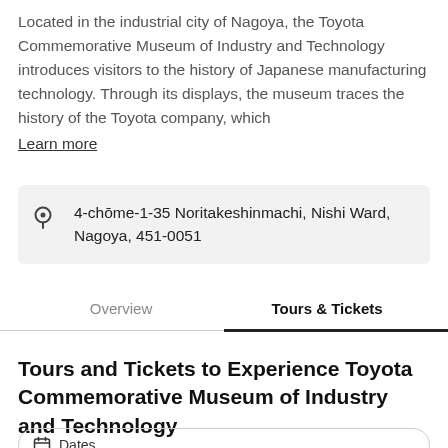Located in the industrial city of Nagoya, the Toyota Commemorative Museum of Industry and Technology introduces visitors to the history of Japanese manufacturing technology. Through its displays, the museum traces the history of the Toyota company, which
Learn more
4-chōme-1-35 Noritakeshinmachi, Nishi Ward, Nagoya, 451-0051
Overview
Tours & Tickets
Tours and Tickets to Experience Toyota Commemorative Museum of Industry and Technology
Dates